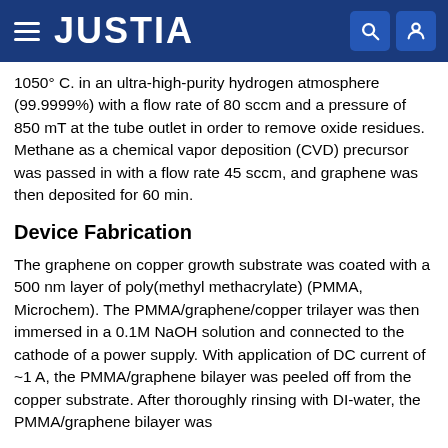JUSTIA
1050° C. in an ultra-high-purity hydrogen atmosphere (99.9999%) with a flow rate of 80 sccm and a pressure of 850 mT at the tube outlet in order to remove oxide residues. Methane as a chemical vapor deposition (CVD) precursor was passed in with a flow rate 45 sccm, and graphene was then deposited for 60 min.
Device Fabrication
The graphene on copper growth substrate was coated with a 500 nm layer of poly(methyl methacrylate) (PMMA, Microchem). The PMMA/graphene/copper trilayer was then immersed in a 0.1M NaOH solution and connected to the cathode of a power supply. With application of DC current of ~1 A, the PMMA/graphene bilayer was peeled off from the copper substrate. After thoroughly rinsing with DI-water, the PMMA/graphene bilayer was